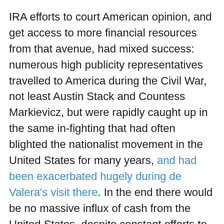IRA efforts to court American opinion, and get access to more financial resources from that avenue, had mixed success: numerous high publicity representatives travelled to America during the Civil War, not least Austin Stack and Countess Markievicz, but were rapidly caught up in the same in-fighting that had often blighted the nationalist movement in the United States for many years, and had been exacerbated hugely during de Valera's visit there. In the end there would be no massive influx of cash from the United States, despite constant efforts to get such financial support: the Free State wouldn't get it either, but they needed it far less than the republicans did. This in itself was vital in a lot of ways: the lack of adequate finances to get guns and other badly needed supplies was one of many factors in the collapse of the anti-Treaty war effort in 1923.